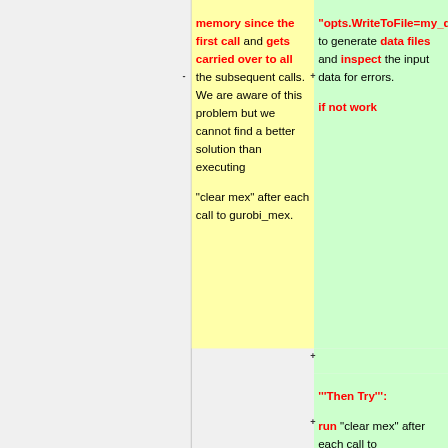memory since the first call and gets carried over to all the subsequent calls. We are aware of this problem but we cannot find a better solution than executing "clear mex" after each call to gurobi_mex.
"opts.WriteToFile=my_data.mps" to generate data files and inspect the input data for errors. if not work
'''Then Try''': run "clear mex" after each call to